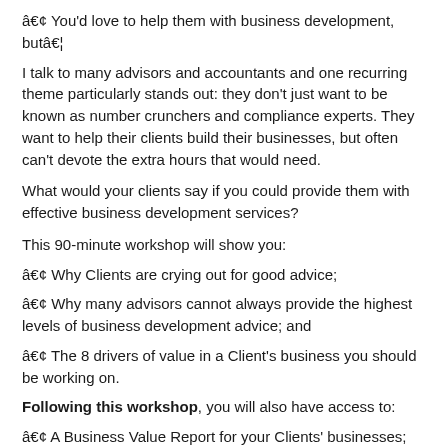â€¢ You'd love to help them with business development, butâ€¦
I talk to many advisors and accountants and one recurring theme particularly stands out: they don't just want to be known as number crunchers and compliance experts. They want to help their clients build their businesses, but often can't devote the extra hours that would need.
What would your clients say if you could provide them with effective business development services?
This 90-minute workshop will show you:
â€¢ Why Clients are crying out for good advice;
â€¢ Why many advisors cannot always provide the highest levels of business development advice; and
â€¢ The 8 drivers of value in a Client's business you should be working on.
Following this workshop, you will also have access to:
â€¢ A Business Value Report for your Clients' businesses; and